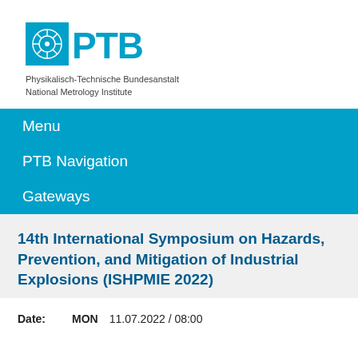[Figure (logo): PTB logo with blue square icon and PTB text in blue, followed by text 'Physikalisch-Technische Bundesanstalt / National Metrology Institute']
Menu
PTB Navigation
Gateways
14th International Symposium on Hazards, Prevention, and Mitigation of Industrial Explosions (ISHPMIE 2022)
Date:   MON   11.07.2022 / 08:00